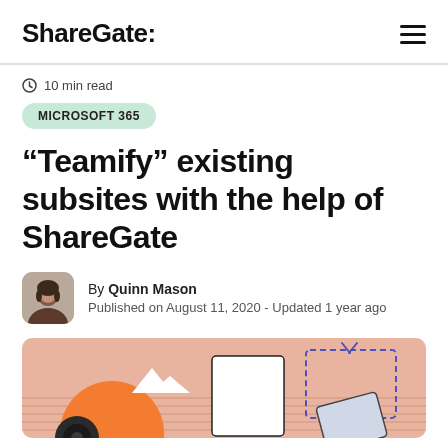ShareGate:
10 min read
MICROSOFT 365
“Teamify” existing subsites with the help of ShareGate
By Quinn Mason
Published on August 11, 2020 - Updated 1 year ago
[Figure (illustration): Hero illustration showing a salmon/orange background with geometric shapes, a white rectangle (window/card), a dashed blue rectangle, and a tilted card element in blue and grey tones, suggesting a migration or transformation concept.]